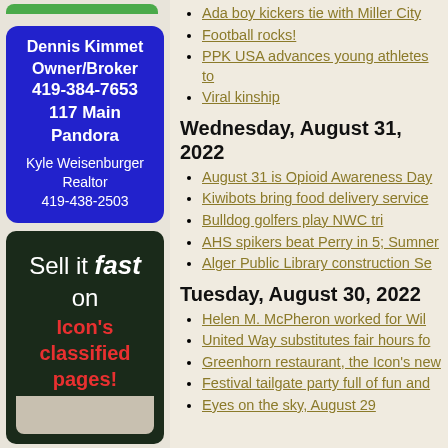[Figure (other): Green bar at top of left sidebar ad]
[Figure (other): Blue rounded rectangle ad: Dennis Kimmet Owner/Broker 419-384-7653 117 Main Pandora. Kyle Weisenburger Realtor 419-438-2503]
[Figure (other): Dark green rounded rectangle ad: Sell it fast on Icon's classified pages!]
Ada boy kickers tie with Miller City
Football rocks!
PPK USA advances young athletes to
Viral kinship
Wednesday, August 31, 2022
August 31 is Opioid Awareness Day
Kiwibots bring food delivery service
Bulldog golfers play NWC tri
AHS spikers beat Perry in 5; Sumner
Alger Public Library construction Se
Tuesday, August 30, 2022
Helen M. McPheron worked for Wil
United Way substitutes fair hours fo
Greenhorn restaurant, the Icon's new
Festival tailgate party full of fun and
Eyes on the sky, August 29